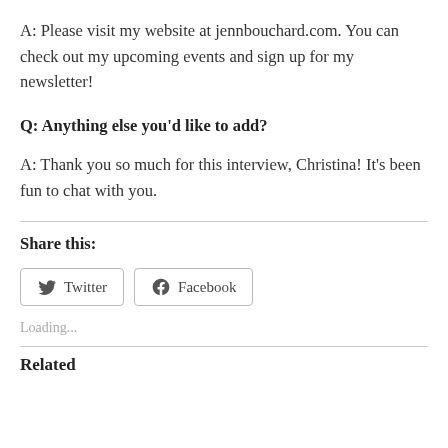A: Please visit my website at jennbouchard.com. You can check out my upcoming events and sign up for my newsletter!
Q: Anything else you'd like to add?
A: Thank you so much for this interview, Christina! It's been fun to chat with you.
Share this:
Loading...
Related